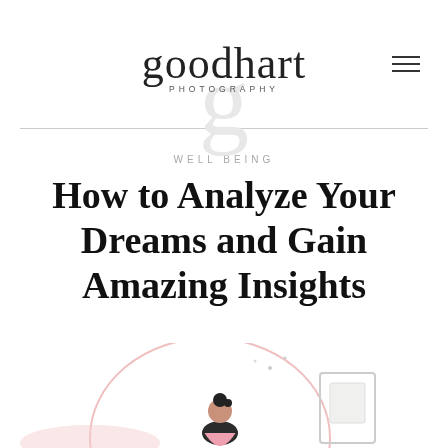[Figure (logo): Goodhart Photography logo with script text and watermark G in background]
WELL BEING
How to Analyze Your Dreams and Gain Amazing Insights
[Figure (illustration): Partial illustration of a person with dream/sleep imagery at bottom of page]